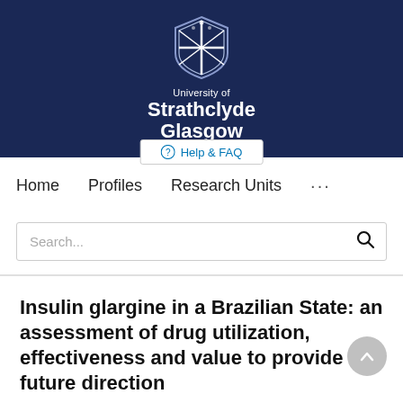[Figure (logo): University of Strathclyde Glasgow logo and shield crest on dark navy banner]
Help & FAQ
Home   Profiles   Research Units   ...
Search...
Insulin glargine in a Brazilian State: an assessment of drug utilization, effectiveness and value to provide future direction
Brian Godman, Ana Luísa Seixas de Souza, Francisco de